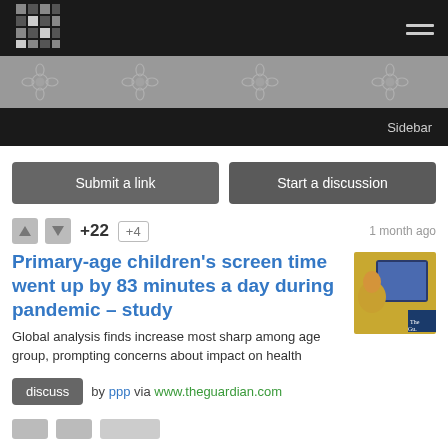[Figure (logo): Grid logo icon in top-left of nav bar]
[Figure (illustration): Floral/flower patterned decorative banner strip in grey tones]
Sidebar
Submit a link
Start a discussion
+22  +4  1 month ago
Primary-age children's screen time went up by 83 minutes a day during pandemic – study
[Figure (photo): Thumbnail photo of a child looking at a computer monitor, partially showing The Guardian logo]
Global analysis finds increase most sharp among age group, prompting concerns about impact on health
discuss  by ppp via www.theguardian.com